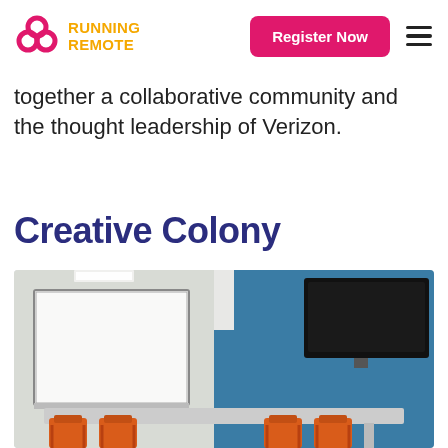Running Remote — Register Now
together a collaborative community and the thought leadership of Verizon.
Creative Colony
[Figure (photo): A meeting room with orange chairs around a table, a large whiteboard on the left wall, and a black flat-screen TV mounted on a blue accent wall on the right.]